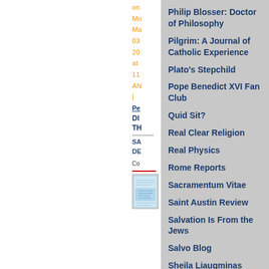on Monday, March 03, 2008 at 11 AM |
Permalink | DIGG THIS | SAVE TO DEL.ICIO.US
Comments
[Figure (illustration): Book cover thumbnail image]
Philip Blosser: Doctor of Philosophy
Pilgrim: A Journal of Catholic Experience
Plato's Stepchild
Pope Benedict XVI Fan Club
Quid Sit?
Real Clear Religion
Real Physics
Rome Reports
Sacramentum Vitae
Saint Austin Review
Salvation Is From the Jews
Salvo Blog
Sheila Liaugminas
Singing In The Reign